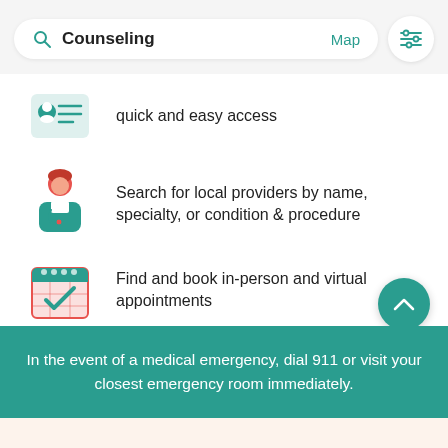[Figure (screenshot): Search bar with 'Counseling' text, Map link, and filter icon button]
quick and easy access
Search for local providers by name, specialty, or condition & procedure
Find and book in-person and virtual appointments
In the event of a medical emergency, dial 911 or visit your closest emergency room immediately.